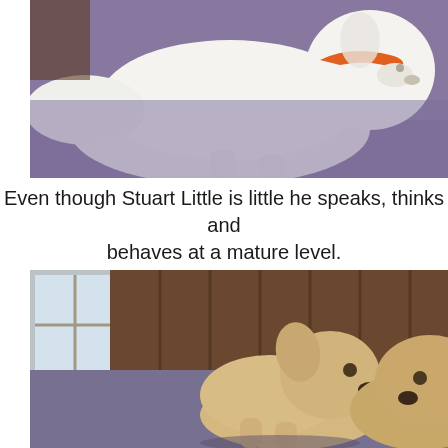[Figure (photo): A fluffy white puppy or small dog with an orange collar, photographed from the side on a purple/blue surface, viewed from slightly above and behind.]
Even though Stuart Little is little he speaks, thinks and behaves at a mature level.
[Figure (photo): Two golden/yellow labrador puppies facing each other on a blue/purple surface, with a wooden background behind them and a window visible on the left.]